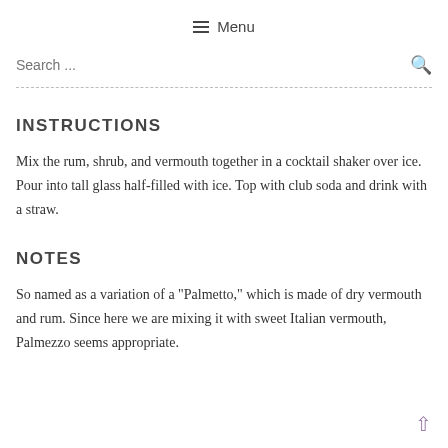≡ Menu
Search ...
INSTRUCTIONS
Mix the rum, shrub, and vermouth together in a cocktail shaker over ice. Pour into tall glass half-filled with ice. Top with club soda and drink with a straw.
NOTES
So named as a variation of a "Palmetto," which is made of dry vermouth and rum. Since here we are mixing it with sweet Italian vermouth, Palmezzo seems appropriate.